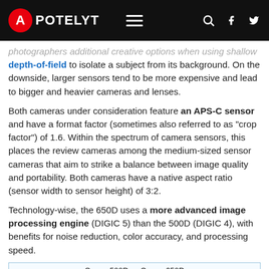APOTELYT
depth-of-field to isolate a subject from its background. On the downside, larger sensors tend to be more expensive and lead to bigger and heavier cameras and lenses.
Both cameras under consideration feature an APS-C sensor and have a format factor (sometimes also referred to as "crop factor") of 1.6. Within the spectrum of camera sensors, this places the review cameras among the medium-sized sensor cameras that aim to strike a balance between image quality and portability. Both cameras have a native aspect ratio (sensor width to sensor height) of 3:2.
Technology-wise, the 650D uses a more advanced image processing engine (DIGIC 5) than the 500D (DIGIC 4), with benefits for noise reduction, color accuracy, and processing speed.
[Figure (engineering-diagram): Canon 500D vs Canon 650D sensor size comparison diagram showing two APS-C sensors each 22.3mm wide with diagonal arrows]